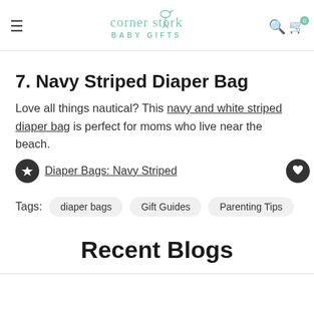corner stork BABY GIFTS
7. Navy Striped Diaper Bag
Love all things nautical? This navy and white striped diaper bag is perfect for moms who live near the beach.
Diaper Bags: Navy Striped
Tags: diaper bags  Gift Guides  Parenting Tips
Recent Blogs